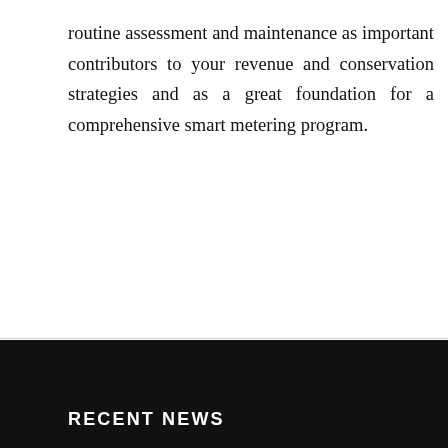routine assessment and maintenance as important contributors to your revenue and conservation strategies and as a great foundation for a comprehensive smart metering program.
MAY 28, 2016   BY ANDY HONEYCUTT
RECENT NEWS